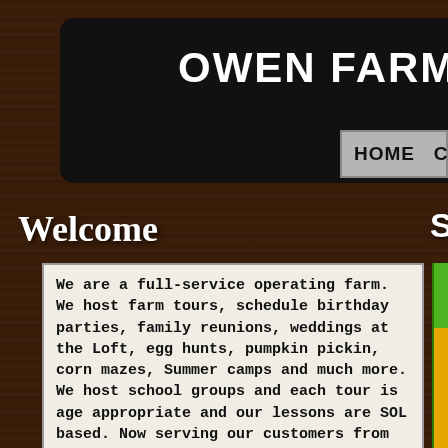OWEN FARM TO
HOME  CONTACT US  FO
Welcome
Simple Family
We are a full-service operating farm.  We host farm tours, schedule birthday parties, family reunions, weddings at the Loft, egg hunts, pumpkin pickin, corn mazes, Summer camps and much more. We host school groups and each tour is age appropriate and our lessons are SOL based. Now serving our customers from our farmers market.
Join us on one of our exciting old-fashion hayrides as we visit with all the farm animals and take a scenic ride over the entire farm.  If you prefer, just take a nature walk over to the cabin and enjoy all of